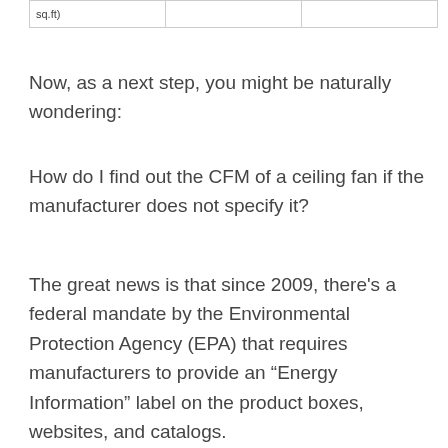| sq.ft) |  |  |
| --- | --- | --- |
|  |
Now, as a next step, you might be naturally wondering:
How do I find out the CFM of a ceiling fan if the manufacturer does not specify it?
The great news is that since 2009, there’s a federal mandate by the Environmental Protection Agency (EPA) that requires manufacturers to provide an “Energy Information” label on the product boxes, websites, and catalogs.